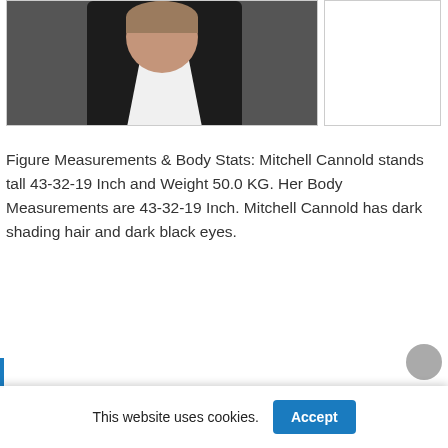[Figure (photo): Portrait photo of Mitchell Cannold — person wearing dark blazer and white shirt, cropped from shoulders up. Partially visible, top portion of page.]
Figure Measurements & Body Stats: Mitchell Cannold stands tall 43-32-19 Inch and Weight 50.0 KG. Her Body Measurements are 43-32-19 Inch. Mitchell Cannold has dark shading hair and dark black eyes.
[Figure (other): Partial content block with blue left border, bottom of page, partially visible.]
This website uses cookies.
Accept